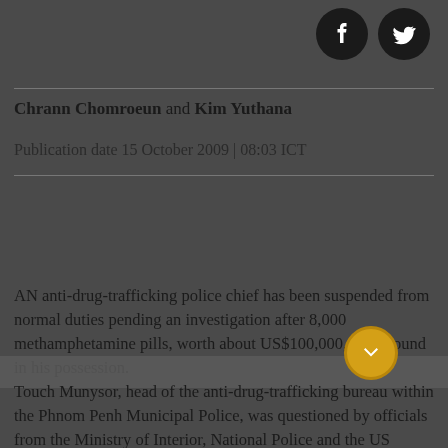[Figure (other): Facebook and Twitter social share icon circles in top right corner]
Chrann Chomroeun and Kim Yuthana
Publication date 15 October 2009 | 08:03 ICT
AN anti-drug-trafficking police chief has been suspended from normal duties pending an investigation after 8,000 methamphetamine pills, worth about US$100,000, were found in his possession.
Touch Munvsor, head of the anti-drug-trafficking bureau within the Phnom Penh Municipal Police, was questioned by officials from the Ministry of Interior, National Police and the US Federal Bureau of Investigation on suspicion of possessing